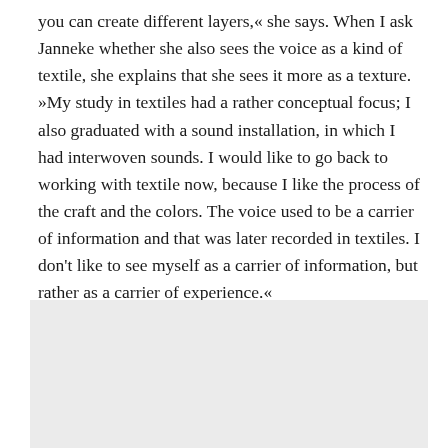you can create different layers,« she says. When I ask Janneke whether she also sees the voice as a kind of textile, she explains that she sees it more as a texture. »My study in textiles had a rather conceptual focus; I also graduated with a sound installation, in which I had interwoven sounds. I would like to go back to working with textile now, because I like the process of the craft and the colors. The voice used to be a carrier of information and that was later recorded in textiles. I don't like to see myself as a carrier of information, but rather as a carrier of experience.«
[Figure (other): Light gray rectangular box at the bottom of the page, appears to be a placeholder or image area.]